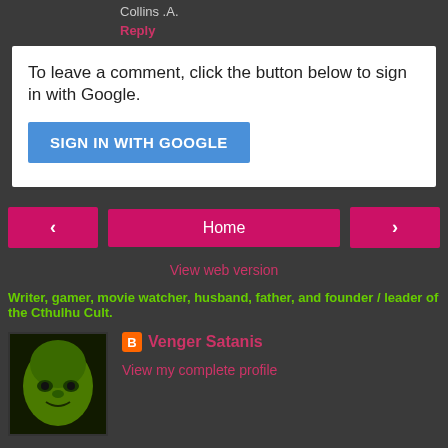Collins .A.
Reply
To leave a comment, click the button below to sign in with Google.
SIGN IN WITH GOOGLE
Home
View web version
Writer, gamer, movie watcher, husband, father, and founder / leader of the Cthulhu Cult.
[Figure (photo): Profile photo of a person with green-tinted skin in a dark background]
Venger Satanis
View my complete profile
Powered by Blogger.